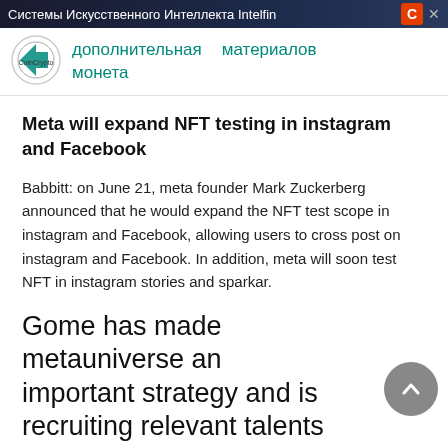Системы Искусственного Интеллекта Intelfin
[Figure (logo): CoinCrypto logo — circular emblem with coin and arrow graphic]
дополнительная монета   материалов
Meta will expand NFT testing in instagram and Facebook
Babbitt: on June 21, meta founder Mark Zuckerberg announced that he would expand the NFT test scope in instagram and Facebook, allowing users to cross post on instagram and Facebook. In addition, meta will soon test NFT in instagram stories and sparkar.
Gome has made metauniverse an important strategy and is recruiting relevant talents
According to the interface news report, Gome has recently identified metaverse as the most important